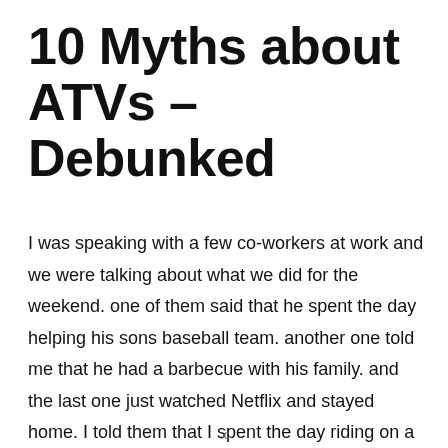10 Myths about ATVs – Debunked
I was speaking with a few co-workers at work and we were talking about what we did for the weekend. one of them said that he spent the day helping his sons baseball team. another one told me that he had a barbecue with his family. and the last one just watched Netflix and stayed home. I told them that I spent the day riding on a trail on Saturday and Sunday I cleaned my dirty quad. they knew that I liked offroading and trail riding but maybe
x